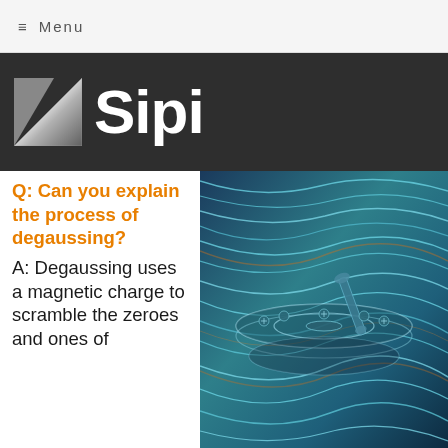≡ Menu
Sipi
Q: Can you explain the process of degaussing?
A: Degaussing uses a magnetic charge to scramble the zeroes and ones of
[Figure (photo): Close-up illustration of a hard drive disk platter with read/write head mechanism, shown with swirling colorful magnetic field lines in blue, teal, and orange in the background.]